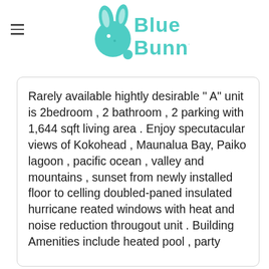Blue Bunny (logo)
Rarely available hightly desirable " A" unit is 2bedroom , 2 bathroom , 2 parking with 1,644 sqft living area . Enjoy specutacular views of Kokohead , Maunalua Bay, Paiko lagoon , pacific ocean , valley and mountains , sunset from newly installed floor to celling doubled-paned insulated hurricane reated windows with heat and noise reduction througout unit . Building Amenities include heated pool , party